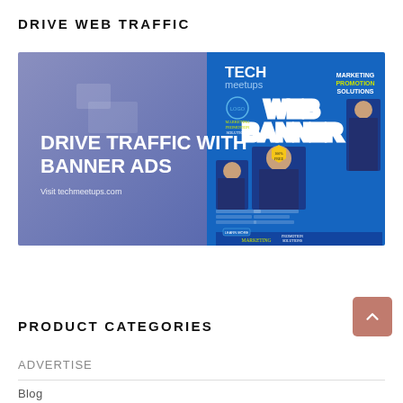DRIVE WEB TRAFFIC
[Figure (illustration): Promotional banner image for 'Drive Traffic with Banner Ads' featuring Tech Meetups branding. Left side shows blue background with white bold text 'DRIVE TRAFFIC WITH BANNER ADS' and smaller text 'Visit techmeetups.com'. Right side shows examples of web banner ad templates in various sizes with 'WEB BANNER' text prominently displayed, 'MARKETING PROMOTION SOLUTIONS' label, Tech meetups logo, and images of a woman.]
PRODUCT CATEGORIES
ADVERTISE
Blog